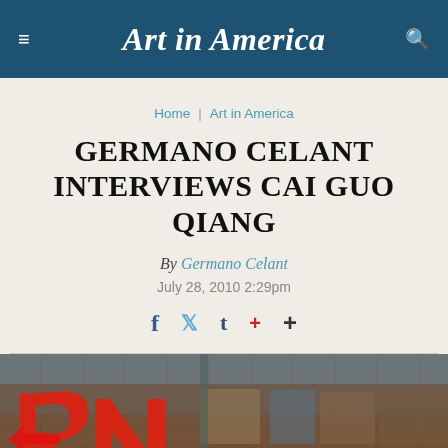Art in America
Home | Art in America
GERMANO CELANT INTERVIEWS CAI GUO QIANG
By Germano Celant
July 28, 2010 2:29pm
[Figure (photo): Street scene with red graffiti letters on a brick wall background, blurred urban environment]